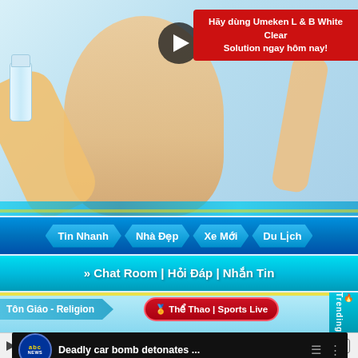[Figure (screenshot): Top portion of a Vietnamese website showing a beauty product video ad with a woman holding a spray bottle, a red banner with Vietnamese text 'Hãy dùng Umeken L & B White Clear Solution ngay hôm nay!' and a play button overlay]
Hãy dùng Umeken L & B White Clear Solution ngay hôm nay!
[Figure (screenshot): Navigation bar with Vietnamese menu items: Tin Nhanh, Nhà Đẹp, Xe Mới, Du Lịch on a blue gradient background]
Tin Nhanh | Nhà Đẹp | Xe Mới | Du Lịch
» Chat Room | Hỏi Đáp | Nhắn Tin
Tôn Giáo - Religion
🏅 Thể Thao | Sports Live
Trending
[Figure (screenshot): YouTube-style embedded video player showing ABC News video titled 'Deadly car bomb detonates ...' with a dark explosion/fire scene thumbnail and a play button]
Deadly car bomb detonates ...
anon4212: @CinaCosta @alicepingleton ftu7zfb    12 💬